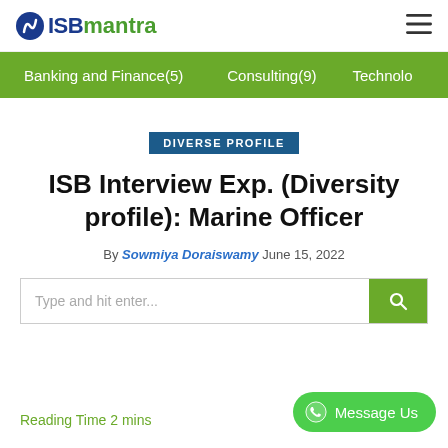ISBmantra
Banking and Finance(5)   Consulting(9)   Technolo
DIVERSE PROFILE
ISB Interview Exp. (Diversity profile): Marine Officer
By Sowmiya Doraiswamy June 15, 2022
Type and hit enter...
Message Us
Reading Time 2 mins